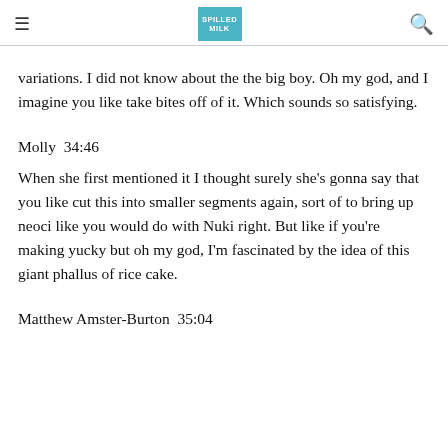≡  SPILLED MILK  🔍
variations. I did not know about the the big boy. Oh my god, and I imagine you like take bites off of it. Which sounds so satisfying.
Molly  34:46
When she first mentioned it I thought surely she's gonna say that you like cut this into smaller segments again, sort of to bring up neoci like you would do with Nuki right. But like if you're making yucky but oh my god, I'm fascinated by the idea of this giant phallus of rice cake.
Matthew Amster-Burton  35:04